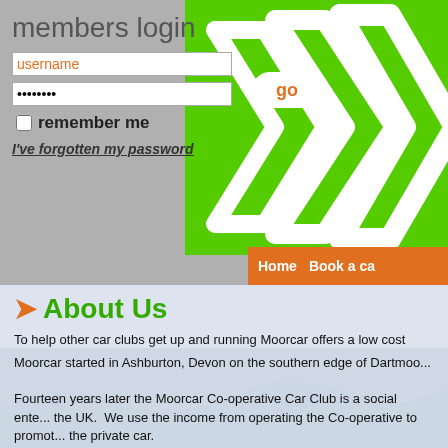members login
username
••••••••
remember me
I've forgotten my password
[Figure (illustration): Green chevron/arrow graphic on green background with orange navigation bar showing Home and Book a ca...]
About Us
To help other car clubs get up and running Moorcar offers a low cost rou... access to our booking system and show members how the club works.
to show you how to set up a new car club.
manage all the invoicing, provide leaflet templates and all
provide current information about insurance and breakdo
Moorcar started in Ashburton, Devon on the southern edge of Dartmoo...
Fourteen years later the Moorcar Co-operative Car Club is a social ente... the UK.  We use the income from operating the Co-operative to promot... the private car.